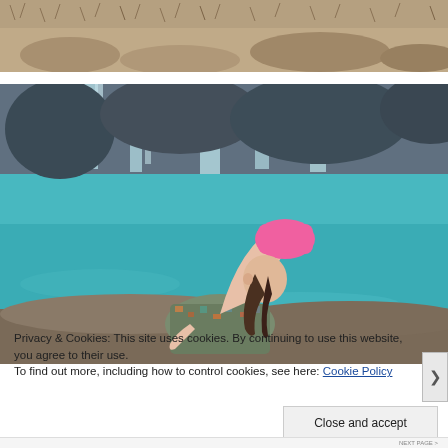[Figure (photo): Top portion of a yoga/outdoor scene, showing brown grass and rocky ground at the top of the page.]
[Figure (photo): A woman in a pink sports bra and patterned pants performing a backbend yoga pose on rocks near a turquoise pool with a waterfall in the background.]
Privacy & Cookies: This site uses cookies. By continuing to use this website, you agree to their use.
To find out more, including how to control cookies, see here: Cookie Policy
Close and accept